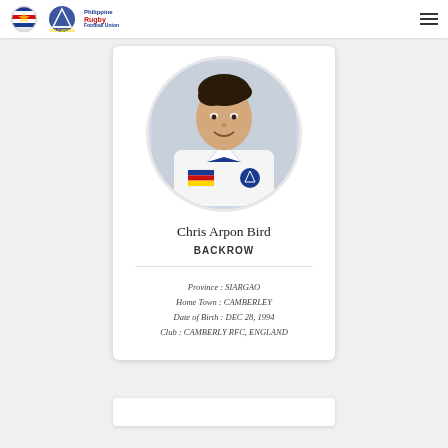Philippine Rugby Football Union | Volcanoes
[Figure (photo): Portrait photo of Chris Arpon Bird in white and blue jersey with Philippine flag and team logo patches, circular crop]
Chris Arpon Bird
BACKROW
Province: SIARGAO
Home Town: CAMBERLEY
Date of Birth: DEC 28, 1994
Club: CAMBERLY RFC, ENGLAND